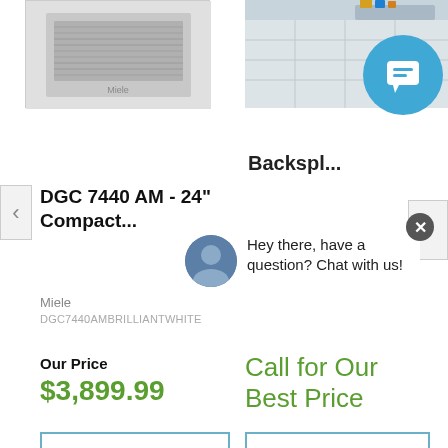[Figure (photo): Product image of Miele DGC 7440 AM compact oven in white on the left; kitchen backsplash product image on the right]
Backspl...
DGC 7440 AM - 24” Compact...
Hey there, have a question? Chat with us!
Miele
DGC7440AMBRILLIANTWHITE
Our Price
$3,899.99
Call for Our Best Price
See Details
See Details